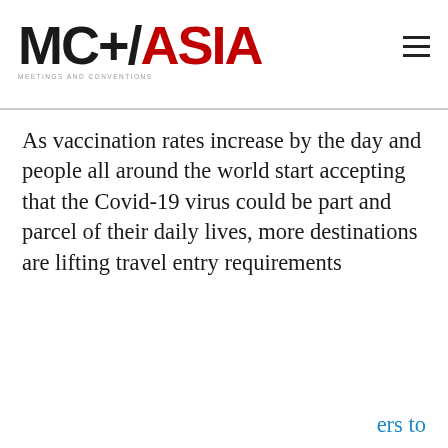MC/ASIA MEETINGS AND CONVENTIONS
As vaccination rates increase by the day and people all around the world start accepting that the Covid-19 virus could be part and parcel of their daily lives, more destinations are lifting travel entry requirements
[Figure (screenshot): Cookie consent banner overlay with dark background. Text reads: By using this site, you agree to the use of cookies. You may change your cookie settings at any time, but the site may not function properly. Learn more. OK button in teal/cyan color.]